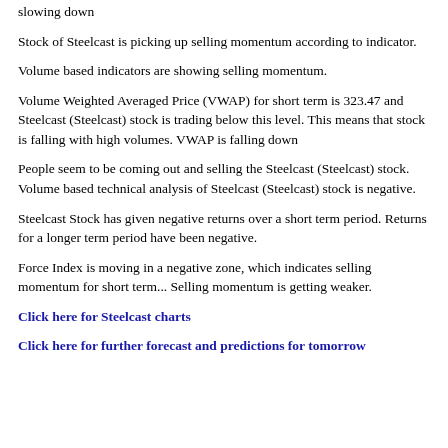slowing down
Stock of Steelcast is picking up selling momentum according to indicator.
Volume based indicators are showing selling momentum.
Volume Weighted Averaged Price (VWAP) for short term is 323.47 and Steelcast (Steelcast) stock is trading below this level. This means that stock is falling with high volumes. VWAP is falling down
People seem to be coming out and selling the Steelcast (Steelcast) stock. Volume based technical analysis of Steelcast (Steelcast) stock is negative.
Steelcast Stock has given negative returns over a short term period. Returns for a longer term period have been negative.
Force Index is moving in a negative zone, which indicates selling momentum for short term... Selling momentum is getting weaker.
Click here for Steelcast charts
Click here for further forecast and predictions for tomorrow